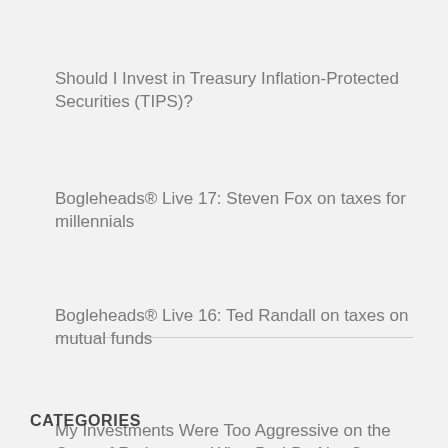Should I Invest in Treasury Inflation-Protected Securities (TIPS)?
Bogleheads® Live 17: Steven Fox on taxes for millennials
Bogleheads® Live 16: Ted Randall on taxes on mutual funds
My Investments Were Too Aggressive on the Cusp of Retirement. What Do I Do Now?
CATEGORIES